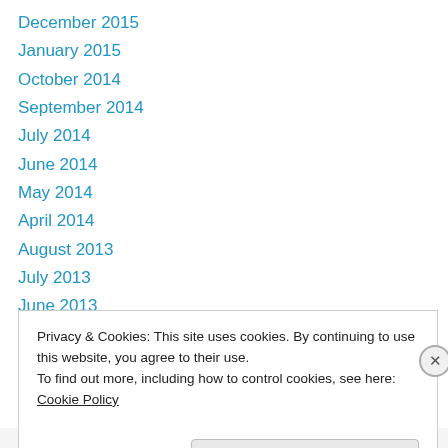December 2015
January 2015
October 2014
September 2014
July 2014
June 2014
May 2014
April 2014
August 2013
July 2013
June 2013
May 2013
April 2013
Privacy & Cookies: This site uses cookies. By continuing to use this website, you agree to their use.
To find out more, including how to control cookies, see here: Cookie Policy
Close and accept